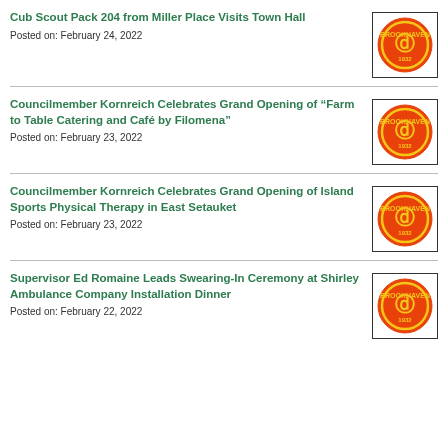Cub Scout Pack 204 from Miller Place Visits Town Hall
Posted on: February 24, 2022
Councilmember Kornreich Celebrates Grand Opening of “Farm to Table Catering and Café by Filomena”
Posted on: February 23, 2022
Councilmember Kornreich Celebrates Grand Opening of Island Sports Physical Therapy in East Setauket
Posted on: February 23, 2022
Supervisor Ed Romaine Leads Swearing-In Ceremony at Shirley Ambulance Company Installation Dinner
Posted on: February 22, 2022